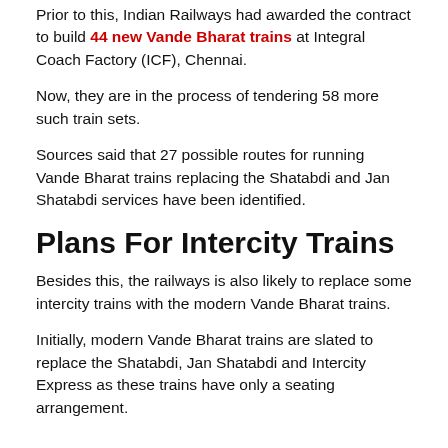Prior to this, Indian Railways had awarded the contract to build 44 new Vande Bharat trains at Integral Coach Factory (ICF), Chennai.
Now, they are in the process of tendering 58 more such train sets.
Sources said that 27 possible routes for running Vande Bharat trains replacing the Shatabdi and Jan Shatabdi services have been identified.
Plans For Intercity Trains
Besides this, the railways is also likely to replace some intercity trains with the modern Vande Bharat trains.
Initially, modern Vande Bharat trains are slated to replace the Shatabdi, Jan Shatabdi and Intercity Express as these trains have only a seating arrangement.